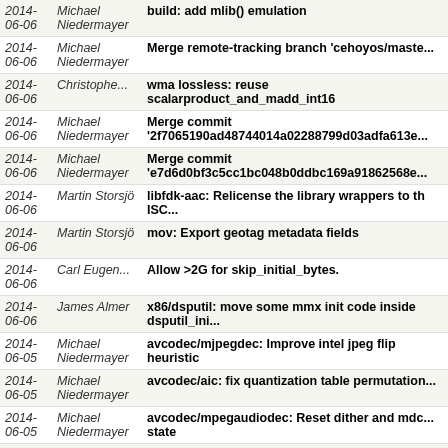| Date | Author | Message |
| --- | --- | --- |
| 2014-
06-06 | Michael
Niedermayer | build: add mlib() emulation |
| 2014-
06-06 | Michael
Niedermayer | Merge remote-tracking branch 'cehoyos/maste... |
| 2014-
06-06 | Christophe... | wma lossless: reuse scalarproduct_and_madd_int16 |
| 2014-
06-06 | Michael
Niedermayer | Merge commit '2f7065190ad48744014a02288799d03adfa613e... |
| 2014-
06-06 | Michael
Niedermayer | Merge commit 'e7d6d0bf3c5cc1bc048b0ddbc169a91862568e... |
| 2014-
06-06 | Martin Storsjö | libfdk-aac: Relicense the library wrappers to th ISC... |
| 2014-
06-06 | Martin Storsjö | mov: Export geotag metadata fields |
| 2014-
06-06 | Carl Eugen... | Allow >2G for skip_initial_bytes. |
| 2014-
06-06 | James Almer | x86/dsputil: move some mmx init code inside dsputil_ini... |
| 2014-
06-05 | Michael
Niedermayer | avcodec/mjpegdec: Improve intel jpeg flip heuristic |
| 2014-
06-05 | Michael
Niedermayer | avcodec/aic: fix quantization table permutation... |
| 2014-
06-05 | Michael
Niedermayer | avcodec/mpegaudiodec: Reset dither and mdc... state |
| 2014-
06-05 | Christophe... | apedsp: move to llauddsp |
| 2014- | Michael | Merge commit |